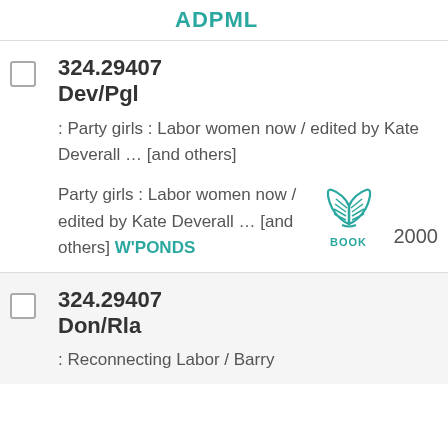ADPML
324.29407 Dev/Pgl : Party girls : Labor women now / edited by Kate Deverall … [and others]
Party girls : Labor women now / edited by Kate Deverall … [and others] W'PONDS BOOK 2000
324.29407 Don/Rla : Reconnecting Labor / Barry